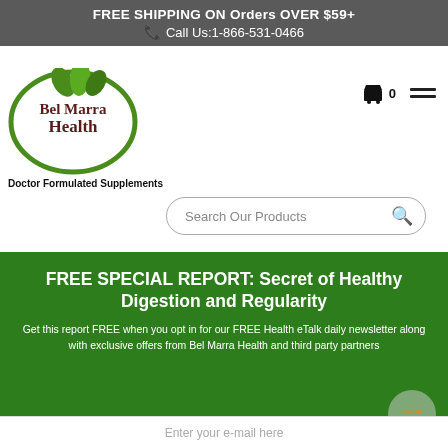FREE SHIPPING ON Orders OVER $59+
📞 Call Us:1-866-531-0466
[Figure (logo): Bel Marra Health logo — green oval with leaf motif and company name in dark red/brown text]
Doctor Formulated Supplements
Search Our Products
FREE SPECIAL REPORT: Secret of Healthy Digestion and Regularity
Get this report FREE when you opt in for our FREE Health eTalk daily newsletter along with exclusive offers from Bel Marra Health and third party partners
Enter your e-mail here